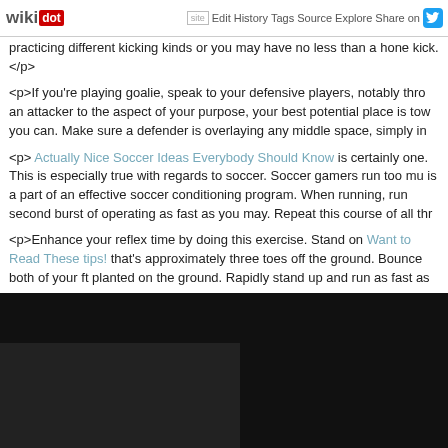wikidot | site | Edit | History | Tags | Source | Explore | Share on [Twitter]
practicing different kicking kinds or you may have no less than a hone kick.</p>
<p>If you're playing goalie, speak to your defensive players, notably thro an attacker to the aspect of your purpose, your best potential place is tow you can. Make sure a defender is overlaying any middle space, simply in
<p> Actually Nice Soccer Ideas Everybody Should Know is certainly one. This is especially true with regards to soccer. Soccer gamers run too mu is a part of an effective soccer conditioning program. When running, run second burst of operating as fast as you may. Repeat this course of all thr
<p>Enhance your reflex time by doing this exercise. Stand on Want to Read These tips! that's approximately three toes off the ground. Bounce both of your ft planted on the ground. Rapidly stand up and run as fast as
<p>Understand that bettering your soccer skills will take time and laborio your skills in a week or two. The most effective soccer gamers understan and months before any giant enhancements arise. Nevertheless, with enc
[Figure (photo): Dark/black image area at the bottom of the page, possibly a video or dark photograph related to soccer]